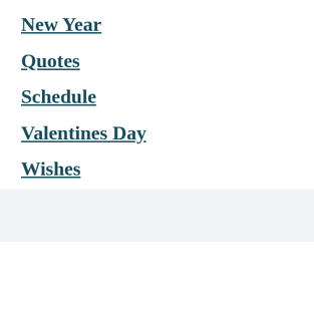New Year
Quotes
Schedule
Valentines Day
Wishes
World Cup